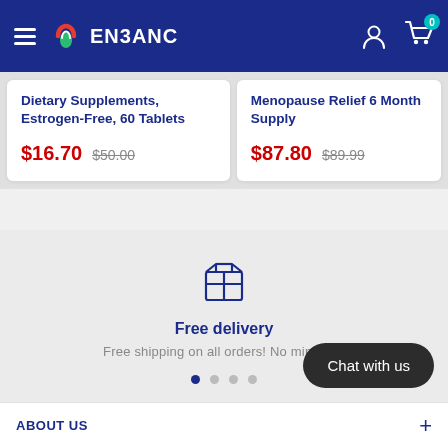ENBANC
Dietary Supplements, Estrogen-Free, 60 Tablets $16.70 $50.00
Menopause Relief 6 Month Supply $87.80 $89.99
[Figure (illustration): Box/package delivery icon outline in dark blue]
Free delivery
Free shipping on all orders! No minimum
Chat with us
ABOUT US